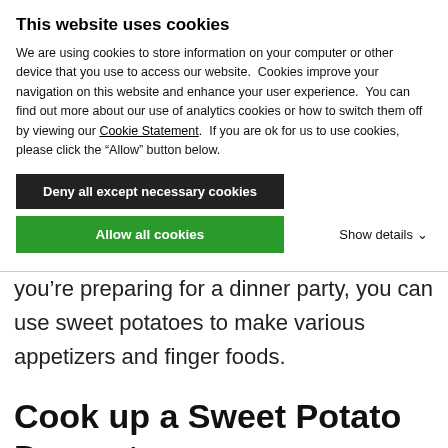This website uses cookies
We are using cookies to store information on your computer or other device that you use to access our website.  Cookies improve your navigation on this website and enhance your user experience.  You can find out more about our use of analytics cookies or how to switch them off by viewing our Cookie Statement.  If you are ok for us to use cookies, please click the “Allow” button below.
Deny all except necessary cookies
Allow all cookies
Show details
you’re preparing for a dinner party, you can use sweet potatoes to make various appetizers and finger foods.
Cook up a Sweet Potato Dessert